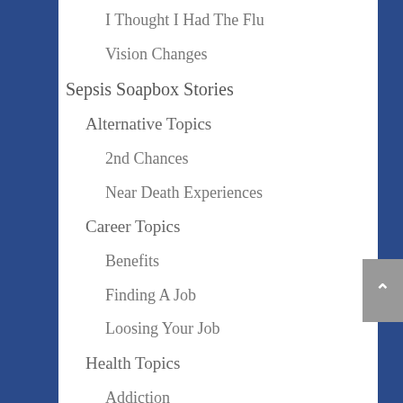I Thought I Had The Flu
Vision Changes
Sepsis Soapbox Stories
Alternative Topics
2nd Chances
Near Death Experiences
Career Topics
Benefits
Finding A Job
Loosing Your Job
Health Topics
Addiction